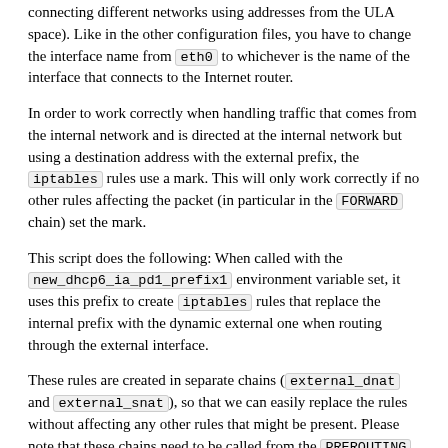connecting different networks using addresses from the ULA space). Like in the other configuration files, you have to change the interface name from eth0 to whichever is the name of the interface that connects to the Internet router.
In order to work correctly when handling traffic that comes from the internal network and is directed at the internal network but using a destination address with the external prefix, the iptables rules use a mark. This will only work correctly if no other rules affecting the packet (in particular in the FORWARD chain) set the mark.
This script does the following: When called with the new_dhcp6_ia_pd1_prefix1 environment variable set, it uses this prefix to create iptables rules that replace the internal prefix with the dynamic external one when routing through the external interface.
These rules are created in separate chains (external_dnat and external_snat), so that we can easily replace the rules without affecting any other rules that might be present. Please note that these chains need to be called from the PREROUTING and POSTROUTING chains like this: